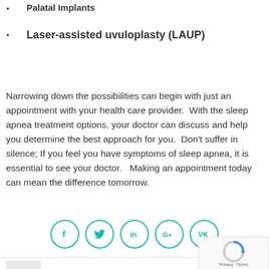Palatal Implants
Laser-assisted uvuloplasty (LAUP)
Narrowing down the possibilities can begin with just an appointment with your health care provider.  With the sleep apnea treatment options, your doctor can discuss and help you determine the best approach for you.  Don't suffer in silence; If you feel you have symptoms of sleep apnea, it is essential to see your doctor.   Making an appointment today can mean the difference tomorrow.
[Figure (infographic): Row of 5 circular social media icons in teal: Facebook (f), Twitter (bird), LinkedIn (in), Google+ (G+), VK (VK)]